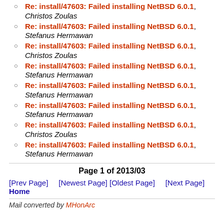Re: install/47603: Failed installing NetBSD 6.0.1, Christos Zoulas
Re: install/47603: Failed installing NetBSD 6.0.1, Stefanus Hermawan
Re: install/47603: Failed installing NetBSD 6.0.1, Christos Zoulas
Re: install/47603: Failed installing NetBSD 6.0.1, Stefanus Hermawan
Re: install/47603: Failed installing NetBSD 6.0.1, Stefanus Hermawan
Re: install/47603: Failed installing NetBSD 6.0.1, Stefanus Hermawan
Re: install/47603: Failed installing NetBSD 6.0.1, Christos Zoulas
Re: install/47603: Failed installing NetBSD 6.0.1, Stefanus Hermawan
Page 1 of 2013/03
[Prev Page]    [Newest Page] [Oldest Page]    [Next Page] Home
Mail converted by MHonArc